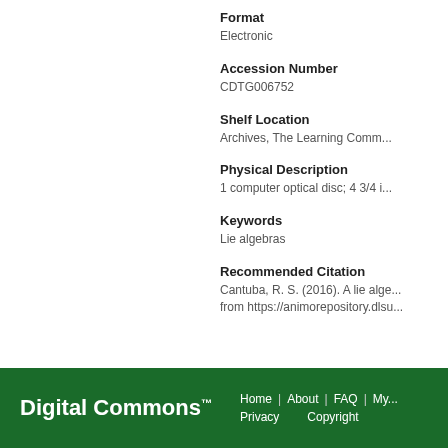Format
Electronic
Accession Number
CDTG006752
Shelf Location
Archives, The Learning Comm...
Physical Description
1 computer optical disc; 4 3/4 i...
Keywords
Lie algebras
Recommended Citation
Cantuba, R. S. (2016). A lie alge... from https://animorepository.dlsu...
Digital Commons™  Home | About | FAQ | My... Privacy  Copyright